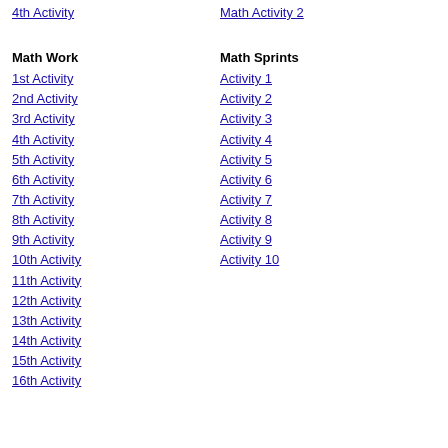4th Activity
Math Activity 2
Math Work
Math Sprints
1st Activity
Activity 1
2nd Activity
Activity 2
3rd Activity
Activity 3
4th Activity
Activity 4
5th Activity
Activity 5
6th Activity
Activity 6
7th Activity
Activity 7
8th Activity
Activity 8
9th Activity
Activity 9
10th Activity
Activity 10
11th Activity
12th Activity
13th Activity
14th Activity
15th Activity
16th Activity